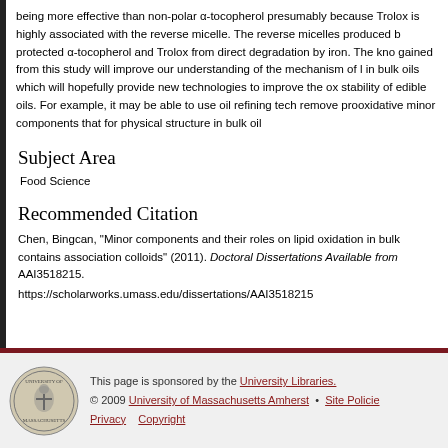being more effective than non-polar α-tocopherol presumably because Trolox is highly associated with the reverse micelle. The reverse micelles produced by protected α-tocopherol and Trolox from direct degradation by iron. The knowledge gained from this study will improve our understanding of the mechanism of lipid oxidation in bulk oils which will hopefully provide new technologies to improve the oxidative stability of edible oils. For example, it may be able to use oil refining technologies to remove prooxidative minor components that for physical structure in bulk oils.
Subject Area
Food Science
Recommended Citation
Chen, Bingcan, "Minor components and their roles on lipid oxidation in bulk oils that contains association colloids" (2011). Doctoral Dissertations Available from Proquest. AAI3518215.
https://scholarworks.umass.edu/dissertations/AAI3518215
This page is sponsored by the University Libraries. © 2009 University of Massachusetts Amherst • Site Policies Privacy Copyright